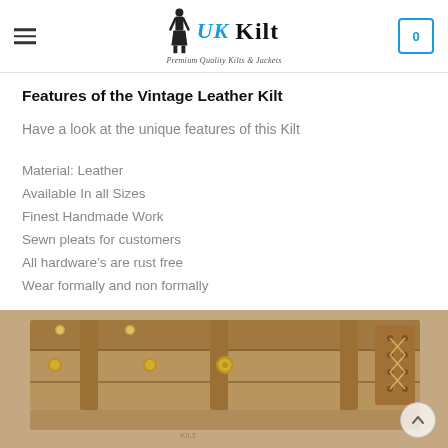UK Kilt — Premium Quality Kilts & Jackets
Features of the Vintage Leather Kilt
Have a look at the unique features of this Kilt
Material: Leather
Available In all Sizes
Finest Handmade Work
Sewn pleats for customers
All hardware's are rust free
Wear formally and non formally
[Figure (photo): Close-up photo of a vintage brown leather kilt showing studs, straps, buckles, and lace-up detail on the right side]